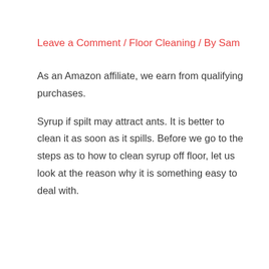Leave a Comment / Floor Cleaning / By Sam
As an Amazon affiliate, we earn from qualifying purchases.
Syrup if spilt may attract ants. It is better to clean it as soon as it spills. Before we go to the steps as to how to clean syrup off floor, let us look at the reason why it is something easy to deal with.